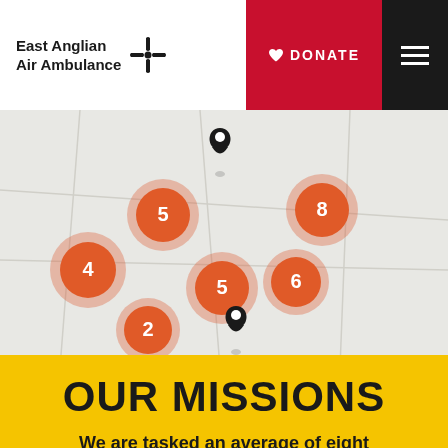[Figure (logo): East Anglian Air Ambulance logo with windmill/propeller icon]
♡ DONATE
[Figure (map): Map showing mission locations with orange numbered cluster circles (values: 5, 8, 4, 5, 6, 2) and two black map pin markers]
OUR MISSIONS
We are tasked an average of eight